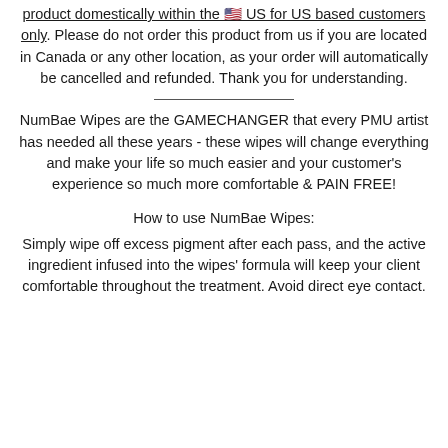product domestically within the 🇺🇸 US for US based customers only. Please do not order this product from us if you are located in Canada or any other location, as your order will automatically be cancelled and refunded. Thank you for understanding.
NumBae Wipes are the GAMECHANGER that every PMU artist has needed all these years - these wipes will change everything and make your life so much easier and your customer's experience so much more comfortable & PAIN FREE!
How to use NumBae Wipes:
Simply wipe off excess pigment after each pass, and the active ingredient infused into the wipes' formula will keep your client comfortable throughout the treatment. Avoid direct eye contact.